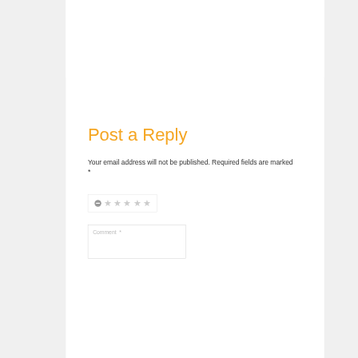Post a Reply
Your email address will not be published. Required fields are marked *
[Figure (other): Star rating widget with a minus/cancel icon on the left followed by five empty (grey) star icons]
[Figure (other): Comment text area input field with placeholder text 'Comment *']